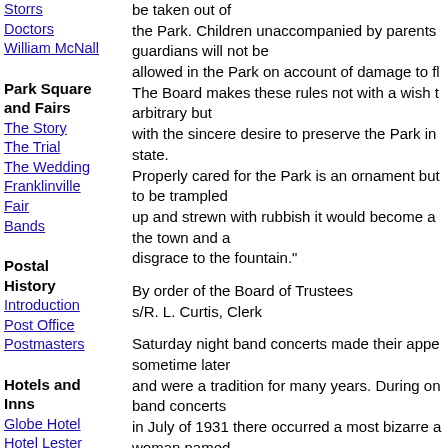Storrs
Doctors
William McNall
be taken out of the Park. Children unaccompanied by parents guardians will not be allowed in the Park on account of damage to fl The Board makes these rules not with a wish to arbitrary but with the sincere desire to preserve the Park in state. Properly cared for the Park is an ornament but to be trampled up and strewn with rubbish it would become a the town and a disgrace to the fountain."
Park Square and Fairs
The Story
The Trial
The Wedding
Franklinville
Fair
Bands
By order of the Board of Trustees s/R. L. Curtis, Clerk
Postal History
Introduction
Post Office
Postmasters
Saturday night band concerts made their appe sometime later and were a tradition for many years. During on band concerts in July of 1931 there occurred a most bizarre a woman named Daisy Whittaker was sitting in her car by the pa to the
Hotels and Inns
Globe Hotel
Hotel Lester
Bard Hotel
Brown Eagle Hotel
Businesses